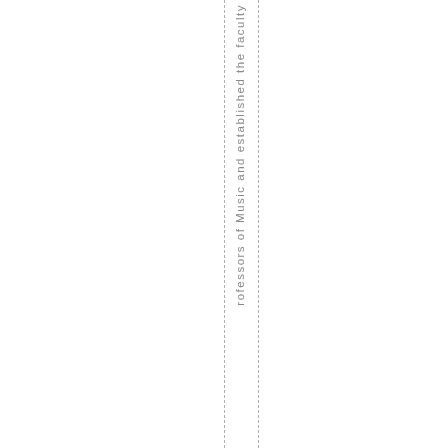rofessors of Music and established the faculty